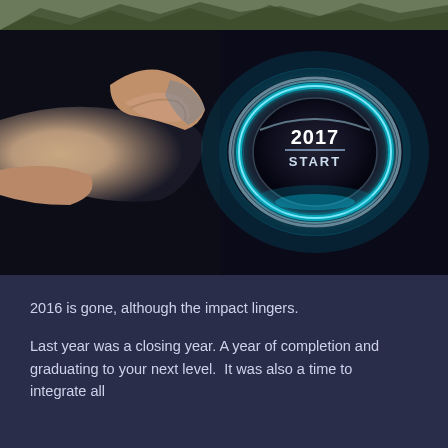[Figure (photo): Top strip showing mountain/nature scenery in muted greens and grays, partially visible]
[Figure (photo): A finger pressing a glowing circular start button labeled '2017 START' with a cyan/blue illuminated ring, set against a dark background]
2016 is gone, although the impact lingers.
Last year was a closing year. A year of completion and graduating to your next level.  It was also a time to integrate all